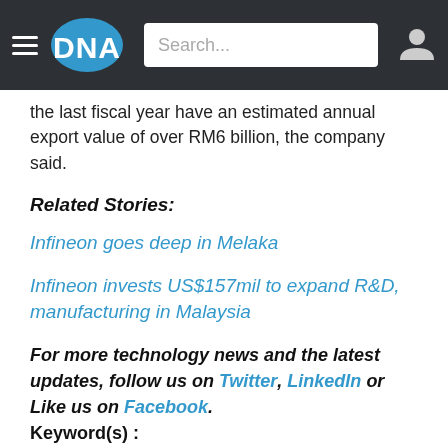DNA — Search...
the last fiscal year have an estimated annual export value of over RM6 billion, the company said.
Related Stories:
Infineon goes deep in Melaka
Infineon invests US$157mil to expand R&D, manufacturing in Malaysia
For more technology news and the latest updates, follow us on Twitter, LinkedIn or Like us on Facebook.
Keyword(s) :